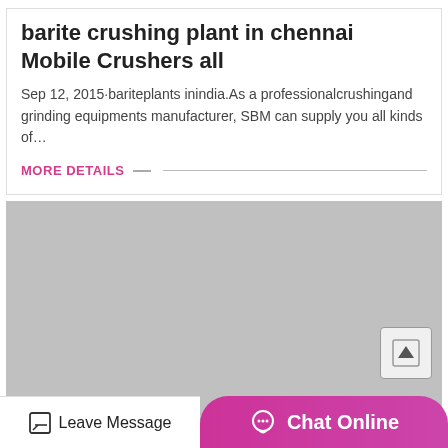barite crushing plant in chennai Mobile Crushers all
Sep 12, 2015·bariteplants inindia.As a professionalcrushingand grinding equipments manufacturer, SBM can supply you all kinds of…
MORE DETAILS
[Figure (photo): Gray placeholder image block]
Leave Message  Chat Online